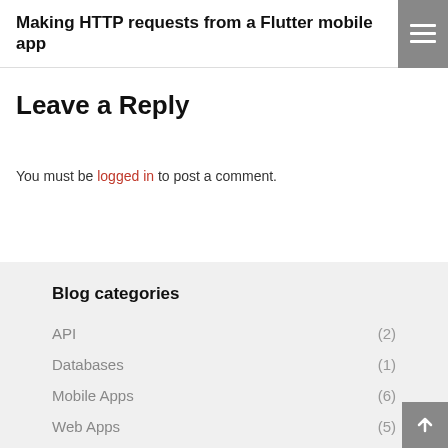Making HTTP requests from a Flutter mobile app
Leave a Reply
You must be logged in to post a comment.
Blog categories
API (2)
Databases (1)
Mobile Apps (6)
Web Apps (5)